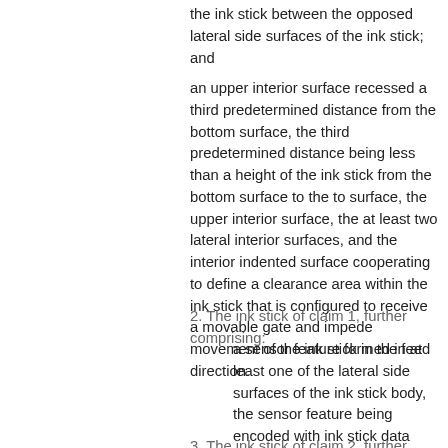the ink stick between the opposed lateral side surfaces of the ink stick; and
an upper interior surface recessed a third predetermined distance from the bottom surface, the third predetermined distance being less than a height of the ink stick from the bottom surface to the to surface, the upper interior surface, the at least two lateral interior surfaces, and the interior indented surface cooperating to define a clearance area within the ink stick that is configured to receive a movable gate and impede movement of the ink stick in the feed direction.
2. The ink stick of claim 1, further comprising:
a sensor feature formed in at least one of the lateral side surfaces of the ink stick body, the sensor feature being encoded with ink stick data pertaining to the ink stick body.
3. The ink stick of claim 2, further comprising:
an insertion key feature formed in at least one of the lateral side surfaces extending between the top